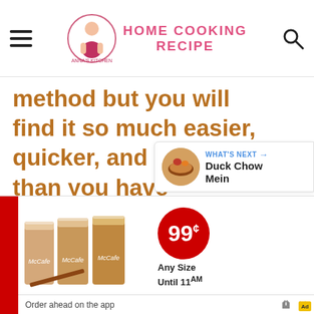HOME COOKING RECIPE
method but you will find it so much easier, quicker, and tastier than you have imagined.
[Figure (infographic): Blue heart/like button with count 44 and share button on right side]
[Figure (other): WHAT'S NEXT panel showing Duck Chow Mein with food image]
[Figure (other): McDonald's McCafe advertisement: three iced coffee cups, 99 cent any size until 11AM promo. Order ahead on the app.]